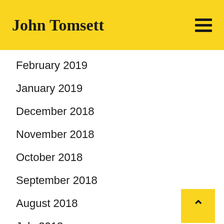John Tomsett
February 2019
January 2019
December 2018
November 2018
October 2018
September 2018
August 2018
July 2018
June 2018
May 2018